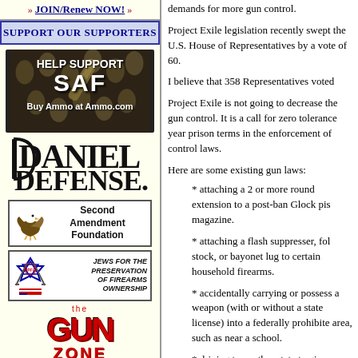» JOIN/Renew NOW! »
SUPPORT OUR SUPPORTERS
[Figure (illustration): Advertisement for SAF (Second Amendment Foundation) - Help Support SAF, Buy Ammo at Ammo.com, with bullet/ammunition background image]
[Figure (logo): Daniel Defense logo - stylized text with capital D design]
[Figure (logo): Second Amendment Foundation logo with eagle icon and text]
[Figure (logo): Jews for the Preservation of Firearms Ownership (JPFO) logo with star of David and rifles]
[Figure (logo): The Gun (magazine/organization) logo in red]
demands for more gun control.
Project Exile legislation recently swept the U.S. House of Representatives by a vote of 60.
I believe that 358 Representatives voted
Project Exile is not going to decrease the gun control. It is a call for zero tolerance year prison terms in the enforcement of control laws.
Here are some existing gun laws:
* attaching a 2 or more round extension to a post-ban Glock pis magazine.
* attaching a flash suppresser, fol stock, or bayonet lug to certain household firearms.
* accidentally carrying or possess a weapon (with or without a state license) into a federally prohibite area, such as near a school.
* driving to another state to give